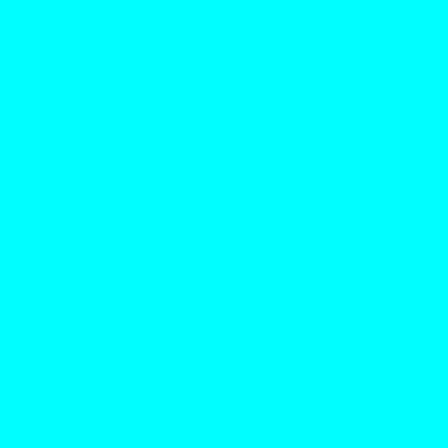| [image] | [qty] | [description] |
| --- | --- | --- |
|  |  | Better/Super Stickerback listed first |
|  | 3 | 1988 Topps Baseball Stickers Variations Dwight Gooden 25/Mike Fitzgerald Marty Barr 248
EX-NM or Better/Super Stickerback listed first |
|  | 3 | 1988 Topps Baseball Stickers Variations Dwight Gooden 25/Mike Lavalliere 131/Larry Sheets 236
EX-NM or |